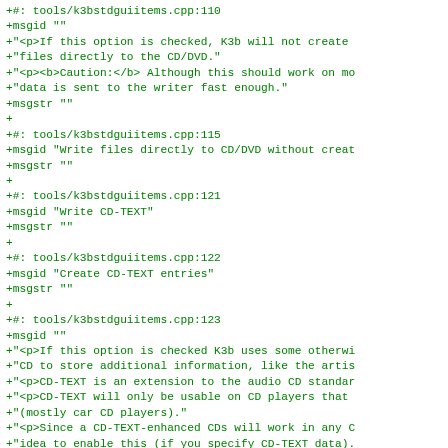+#: tools/k3bstdguiitems.cpp:110
+msgid ""
+"<p>If this option is checked, K3b will not create
+"files directly to the CD/DVD."
+"<p><b>Caution:</b> Although this should work on mo
+"data is sent to the writer fast enough."
+msgstr ""
+
+#: tools/k3bstdguiitems.cpp:115
+msgid "Write files directly to CD/DVD without creat
+msgstr ""
+
+#: tools/k3bstdguiitems.cpp:121
+msgid "Write CD-TEXT"
+msgstr ""
+
+#: tools/k3bstdguiitems.cpp:122
+msgid "Create CD-TEXT entries"
+msgstr ""
+
+#: tools/k3bstdguiitems.cpp:123
+msgid ""
+"<p>If this option is checked K3b uses some otherwi
+"CD to store additional information, like the artis
+"<p>CD-TEXT is an extension to the audio CD standar
+"<p>CD-TEXT will only be usable on CD players that
+"(mostly car CD players)."
+"<p>Since a CD-TEXT-enhanced CDs will work in any C
+"idea to enable this (if you specify CD-TEXT data).
+msgstr ""